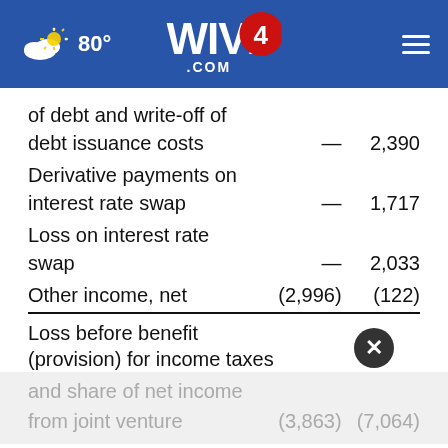WIVB4.COM — 80°
|  |  |  |
| --- | --- | --- |
| of debt and write-off of |  |  |
| debt issuance costs | — | 2,390 |
| Derivative payments on |  |  |
| interest rate swap | — | 1,717 |
| Loss on interest rate |  |  |
| swap | — | 2,033 |
| Other income, net | (2,996) | (122) |
| Loss before benefit |  |  |
| (provision) for income taxes |  |  |
| and share of net income |  |  |
| from joint venture | (3,863) | (7,064) |